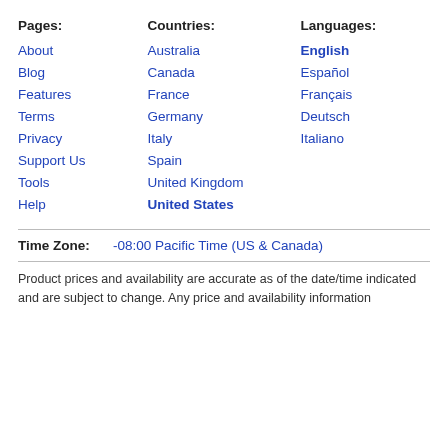Pages: About, Blog, Features, Terms, Privacy, Support Us, Tools, Help
Countries: Australia, Canada, France, Germany, Italy, Spain, United Kingdom, United States
Languages: English, Español, Français, Deutsch, Italiano
Time Zone: -08:00 Pacific Time (US & Canada)
Product prices and availability are accurate as of the date/time indicated and are subject to change. Any price and availability information